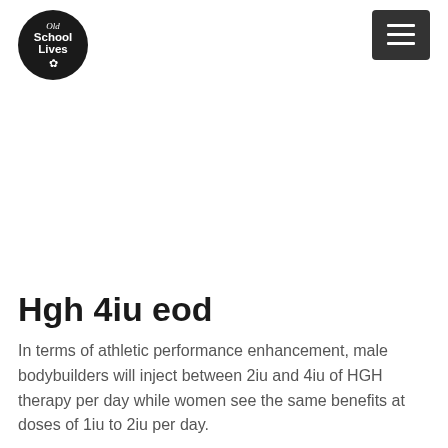[Figure (logo): Old School Lives logo — circular black badge with white text reading 'Old School Lives' and a small leaf/plant graphic]
[Figure (other): Dark gray hamburger menu button with three horizontal white lines]
Hgh 4iu eod
In terms of athletic performance enhancement, male bodybuilders will inject between 2iu and 4iu of HGH therapy per day while women see the same benefits at doses of 1iu to 2iu per day.
The study, in which more than 6,100 men